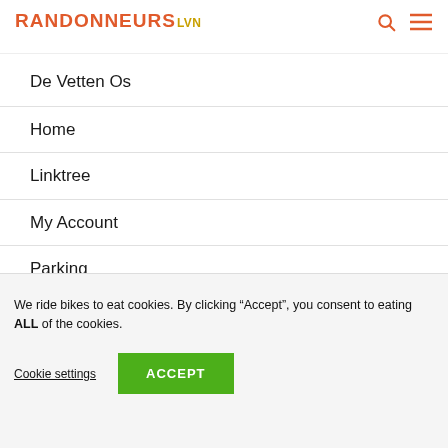RANDONNEURS LVN
De Vetten Os
Home
Linktree
My Account
Parking
Registration
Results
Staying in Leuven
We ride bikes to eat cookies. By clicking “Accept”, you consent to eating ALL of the cookies.
Cookie settings | ACCEPT